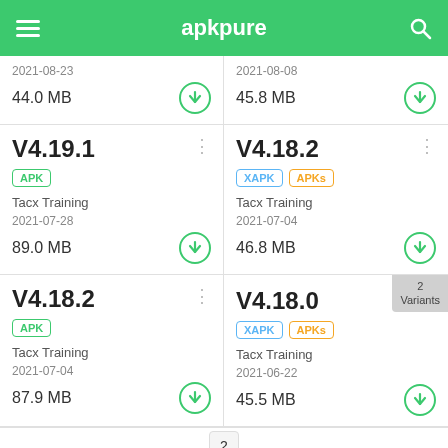apkpure
2021-08-23
44.0 MB
2021-08-08
45.8 MB
V4.19.1
APK
Tacx Training
2021-07-28
89.0 MB
V4.18.2
XAPK APKs
Tacx Training
2021-07-04
46.8 MB
V4.18.2
APK
Tacx Training
2021-07-04
87.9 MB
V4.18.0
XAPK APKs
Tacx Training
2021-06-22
45.5 MB
2 Variants
2